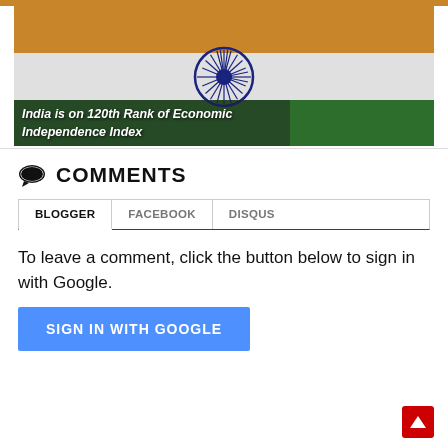[Figure (photo): Indian flag with Ashoka Chakra. Overlaid text reads: India is on 120th Rank of Economic Independence Index]
COMMENTS
BLOGGER  FACEBOOK  DISQUS
To leave a comment, click the button below to sign in with Google.
SIGN IN WITH GOOGLE